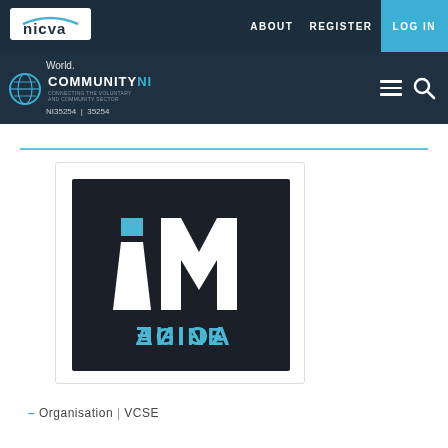nicva | ABOUT  REGISTER  LOG IN
[Figure (logo): NICVA Community NI website screenshot header with navigation: ABOUT, REGISTER, LOG IN buttons. Second bar shows CommunityNI logo with world globe, hamburger menu and search icon. NI35254 | 35254 reference number shown.]
[Figure (logo): iM AGINE logo — white and teal letters on dark background. The word IMAGINE is split with iM on top and AGINE (mirrored/reversed) below.]
– Organisation | VCSE